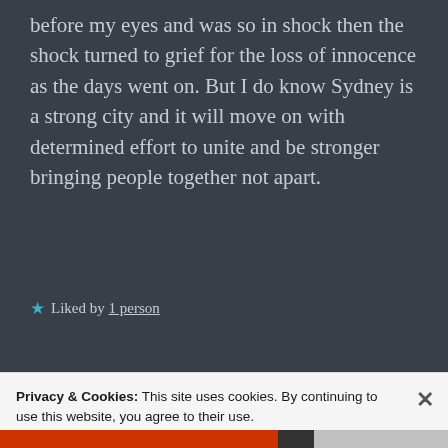before my eyes and was so in shock then the shock turned to grief for the loss of innocence as the days went on. But I do know Sydney is a strong city and it will move on with determined effort to unite and be stronger bringing people together not apart.
Liked by 1 person
KAZBLAH says:
Reply
Privacy & Cookies: This site uses cookies. By continuing to use this website, you agree to their use. To find out more, including how to control cookies, see here: Cookie Policy
Close and accept